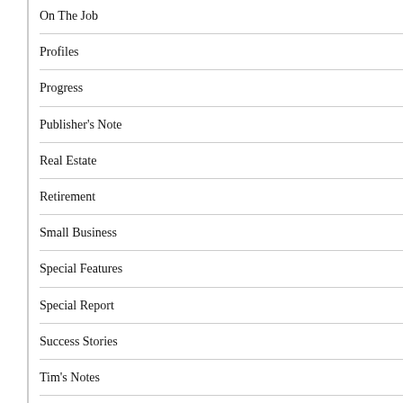On The Job
Profiles
Progress
Publisher's Note
Real Estate
Retirement
Small Business
Special Features
Special Report
Success Stories
Tim's Notes
Tourism
Where in the World is Sandra Scott?